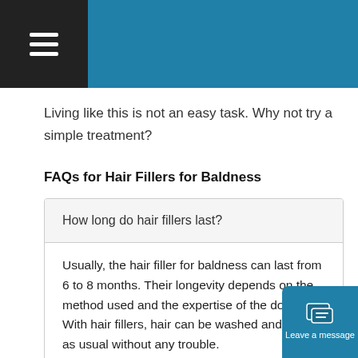Living like this is not an easy task. Why not try a simple treatment?
FAQs for Hair Fillers for Baldness
How long do hair fillers last?
Usually, the hair filler for baldness can last from 6 to 8 months. Their longevity depends on the method used and the expertise of the doctor. With hair fillers, hair can be washed and styled as usual without any trouble.
▶ How do I fill in bald spots?